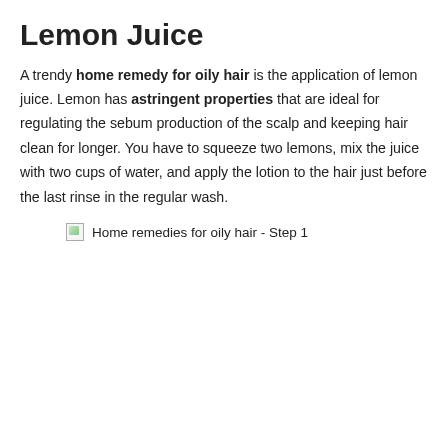Lemon Juice
A trendy home remedy for oily hair is the application of lemon juice. Lemon has astringent properties that are ideal for regulating the sebum production of the scalp and keeping hair clean for longer. You have to squeeze two lemons, mix the juice with two cups of water, and apply the lotion to the hair just before the last rinse in the regular wash.
[Figure (photo): Broken image placeholder with alt text: Home remedies for oily hair - Step 1]